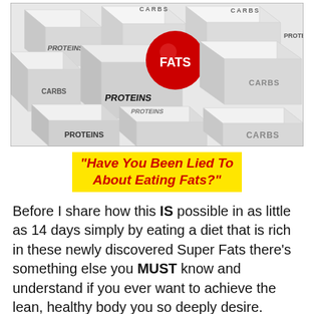[Figure (illustration): 3D rendered image of multiple white cubes labeled CARBS and PROTEINS, with a red sphere labeled FATS prominent in the center, arranged in a grid pattern]
“Have You Been Lied To About Eating Fats?”
Before I share how this IS possible in as little as 14 days simply by eating a diet that is rich in these newly discovered Super Fats there’s something else you MUST know and understand if you ever want to achieve the lean, healthy body you so deeply desire.